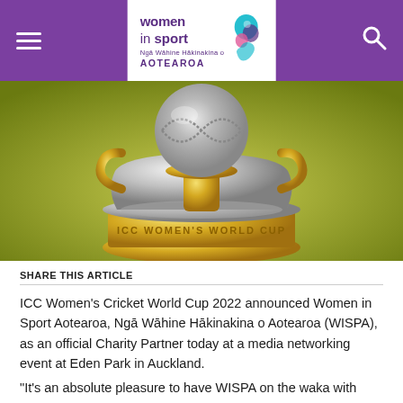Women in Sport Aotearoa — navigation header
[Figure (photo): Close-up photograph of the ICC Women's World Cup trophy — a silver and gold cricket trophy with 'ICC WOMEN'S WORLD CUP' engraved on its base, set against a yellow-green background.]
SHARE THIS ARTICLE
ICC Women's Cricket World Cup 2022 announced Women in Sport Aotearoa, Ngā Wāhine Hākinakina o Aotearoa (WISPA), as an official Charity Partner today at a media networking event at Eden Park in Auckland.
“It’s an absolute pleasure to have WISPA on the waka with